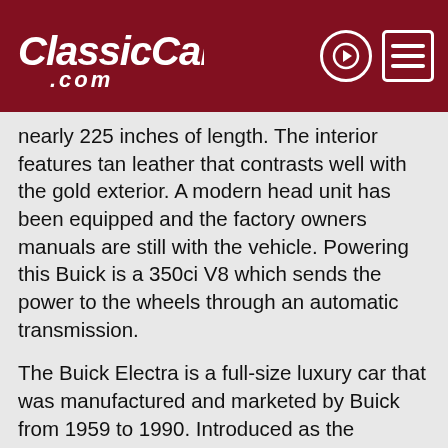ClassicCars.com
nearly 225 inches of length. The interior features tan leather that contrasts well with the gold exterior. A modern head unit has been equipped and the factory owners manuals are still with the vehicle. Powering this Buick is a 350ci V8 which sends the power to the wheels through an automatic transmission.
The Buick Electra is a full-size luxury car that was manufactured and marketed by Buick from 1959 to 1990. Introduced as the replacement for the Super and the Roadmaster lines, the Electra served as the flagship Buick sedan line through its entire production. While offered primarily as a four-door sedan, at various times, the Electra was also marketed as a two-door sedan, two-door convertible, and as a five-door station wagon.